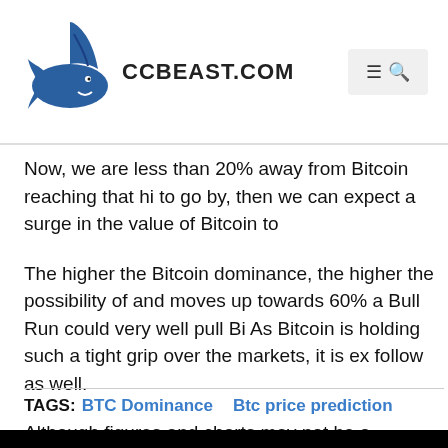CCBEAST.COM
Now, we are less than 20% away from Bitcoin reaching that hi to go by, then we can expect a surge in the value of Bitcoin to
The higher the Bitcoin dominance, the higher the possibility of and moves up towards 60% a Bull Run could very well pull Bi As Bitcoin is holding such a tight grip over the markets, it is ex follow as well.
Although figures and charts may not be a panacea, Bitcoin do investors.
TAGS: BTC Dominance   Btc price prediction